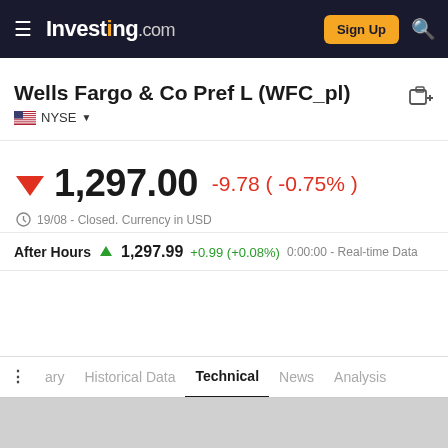Investing.com — Sign Up
Wells Fargo & Co Pref L (WFC_pl)
NYSE
1,297.00 -9.78 ( -0.75% )
19/08 - Closed. Currency in USD
After Hours  1,297.99  +0.99 (+0.08%)  0:00:00 - Real-time Data
ary  Historical Data  Technical  News  Analysis